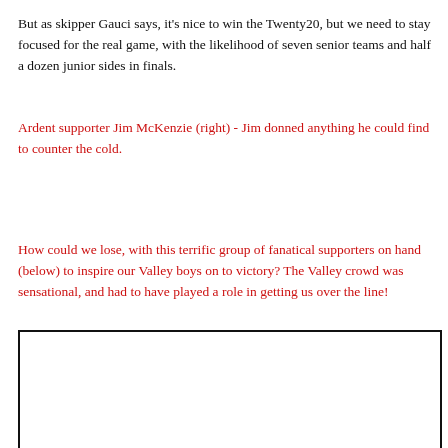But as skipper Gauci says, it's nice to win the Twenty20, but we need to stay focused for the real game, with the likelihood of seven senior teams and half a dozen junior sides in finals.
Ardent supporter Jim McKenzie (right) - Jim donned anything he could find to counter the cold.
How could we lose, with this terrific group of fanatical supporters on hand (below) to inspire our Valley boys on to victory? The Valley crowd was sensational, and had to have played a role in getting us over the line!
[Figure (photo): A white rectangular photo placeholder with a black border, occupying the lower portion of the page.]